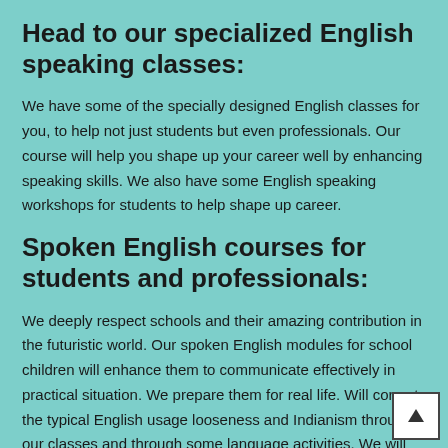Head to our specialized English speaking classes:
We have some of the specially designed English classes for you, to help not just students but even professionals. Our course will help you shape up your career well by enhancing speaking skills. We also have some English speaking workshops for students to help shape up career.
Spoken English courses for students and professionals:
We deeply respect schools and their amazing contribution in the futuristic world. Our spoken English modules for school children will enhance them to communicate effectively in practical situation. We prepare them for real life. Will correct the typical English usage looseness and Indianism through our classes and through some language activities. We will help children to speak English fluently and without any grammatical mistakes. Furthermore, to make the classes entertaining, we will add skits, role plays and other practical courses to make language learning fun and meaningful.